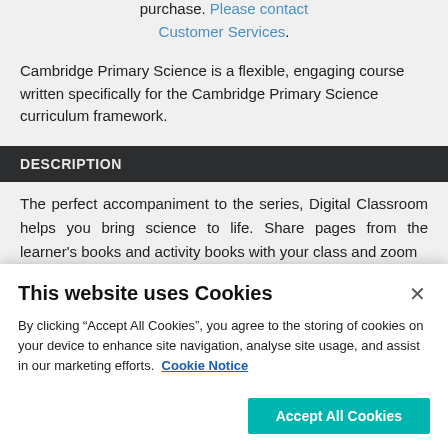purchase. Please contact Customer Services.
Cambridge Primary Science is a flexible, engaging course written specifically for the Cambridge Primary Science curriculum framework.
DESCRIPTION
The perfect accompaniment to the series, Digital Classroom helps you bring science to life. Share pages from the learner's books and activity books with your class and zoom
This website uses Cookies
By clicking “Accept All Cookies”, you agree to the storing of cookies on your device to enhance site navigation, analyse site usage, and assist in our marketing efforts. Cookie Notice